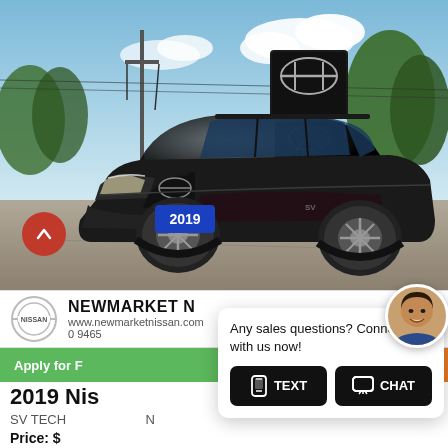[Figure (photo): A black 2019 Nissan Rogue SUV photographed at a Nissan/Infiniti dealership lot. Blue license plate reads '2019'. Nissan and Infiniti dealer signs visible in background with trees and power lines.]
NEWMARKET NISSAN
www.newmarketnissan.com
9465
Apply for F
ive Drive
2019 Nis el Drive
SV TECH N
Price: $
Any sales questions? Connect with us now!
TEXT
CHAT